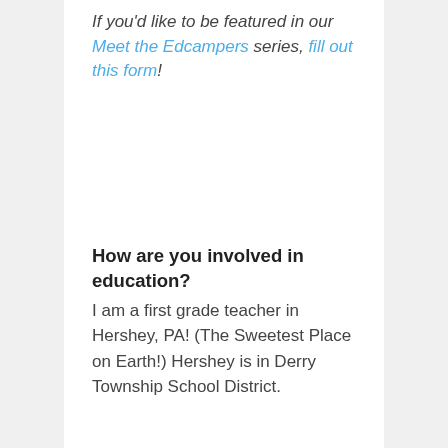If you'd like to be featured in our Meet the Edcampers series, fill out this form!
How are you involved in education?
I am a first grade teacher in Hershey, PA! (The Sweetest Place on Earth!) Hershey is in Derry Township School District.